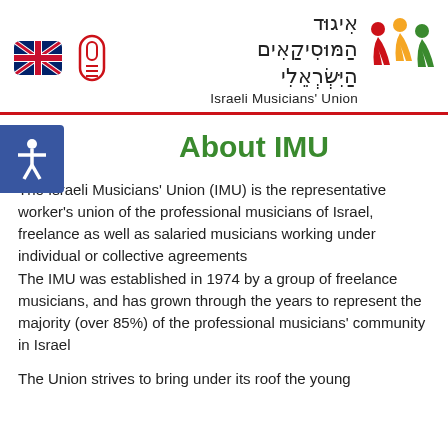[Figure (logo): Israeli Musicians' Union logo with Hebrew text and colorful figure icons (red, yellow, green people), plus UK flag icon and phone/pill icon on the left]
About IMU
The Israeli Musicians' Union (IMU) is the representative worker's union of the professional musicians of Israel, freelance as well as salaried musicians working under individual or collective agreements
The IMU was established in 1974 by a group of freelance musicians, and has grown through the years to represent the majority (over 85%) of the professional musicians' community in Israel
The Union strives to bring under its roof the young